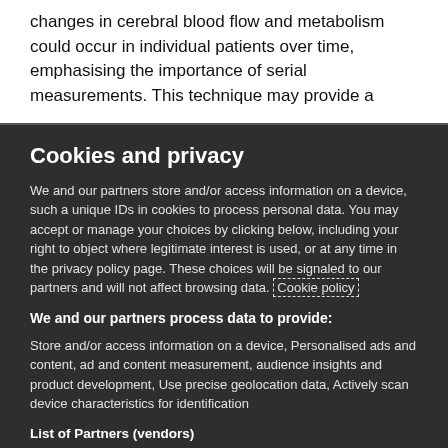changes in cerebral blood flow and metabolism could occur in individual patients over time, emphasising the importance of serial measurements. This technique may provide a
Cookies and privacy
We and our partners store and/or access information on a device, such a unique IDs in cookies to process personal data. You may accept or manage your choices by clicking below, including your right to object where legitimate interest is used, or at any time in the privacy policy page. These choices will be signaled to our partners and will not affect browsing data. Cookie policy
We and our partners process data to provide:
Store and/or access information on a device, Personalised ads and content, ad and content measurement, audience insights and product development, Use precise geolocation data, Actively scan device characteristics for identification
List of Partners (vendors)